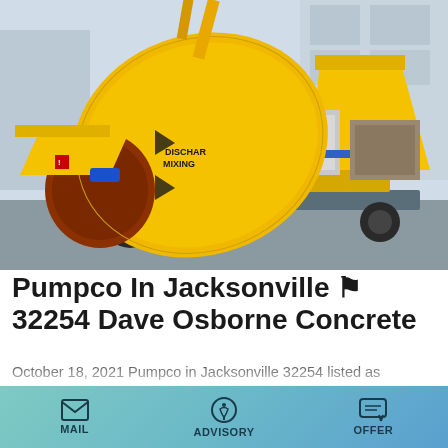[Figure (photo): Yellow concrete mixer pump truck with large rotating drum labeled DISCHAR MIXING, mounted on a wheeled chassis, parked outdoors near a building]
Pumpco In Jacksonville ⚑ 32254 Dave Osborne Concrete
October 18, 2021 Pumpco in Jacksonville 32254 listed as licensed Concrete Contractors Near Me and we are located at the address 4710 Dignan St Florida 32254 in Jacksonville and you can contact us via email or phone, click here to learn more and get hours, ratings and free expert estimates from
MAIL   ADVISORY   OFFER